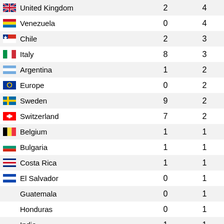| Country | Col1 | Col2 |
| --- | --- | --- |
| United Kingdom | 2 | 4 |
| Venezuela | 0 | 4 |
| Chile | 2 | 3 |
| Italy | 8 | 3 |
| Argentina | 1 | 2 |
| Europe | 0 | 2 |
| Sweden | 9 | 2 |
| Switzerland | 7 | 2 |
| Belgium | 1 | 1 |
| Bulgaria | 1 | 1 |
| Costa Rica | 1 | 1 |
| El Salvador | 0 | 1 |
| Guatemala | 0 | 1 |
| Honduras | 0 | 1 |
| India | 1 | 1 |
| Israel | 0 | 1 |
| Korea Republic of | 0 | 1 |